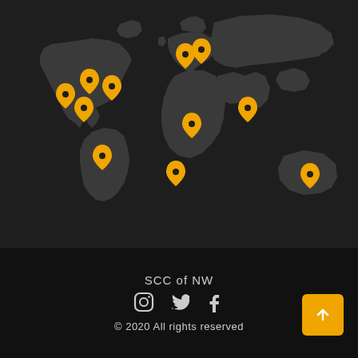[Figure (map): Dark world map with orange/yellow location pin markers placed across North America, South America, Europe, Africa, Middle East, Asia, and Australia regions.]
SCC of NW
[Figure (other): Social media icons: Instagram, Twitter, Facebook in gray]
© 2020 All rights reserved